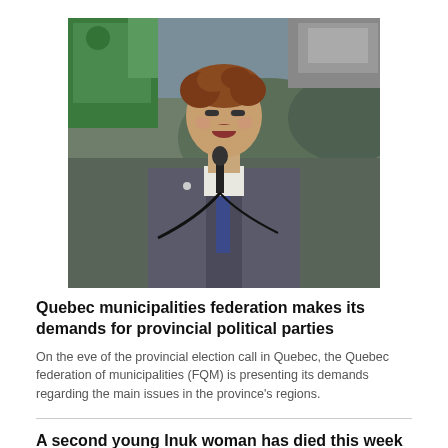[Figure (photo): A man in a grey suit with a blue tie and dotted pocket square speaks at a microphone outdoors, with green and industrial machinery visible in the background and rocky terrain behind.]
Quebec municipalities federation makes its demands for provincial political parties
On the eve of the provincial election call in Quebec, the Quebec federation of municipalities (FQM) is presenting its demands regarding the main issues in the province's regions.
A second young Inuk woman has died this week after being struck on a Montreal highway